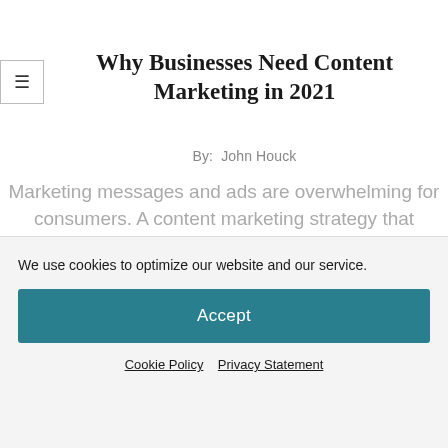Why Businesses Need Content Marketing in 2021
By:  John Houck
Marketing messages and ads are overwhelming for consumers. A content marketing strategy that works helps small businesses connect with
We use cookies to optimize our website and our service.
Accept
Cookie Policy   Privacy Statement